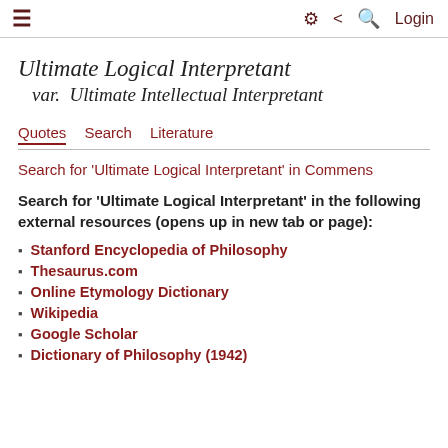≡  ⚙ < Q  Login
Ultimate Logical Interpretant
  var.  Ultimate Intellectual Interpretant
Quotes  Search  Literature
Search for 'Ultimate Logical Interpretant' in Commens
Search for 'Ultimate Logical Interpretant' in the following external resources (opens up in new tab or page):
Stanford Encyclopedia of Philosophy
Thesaurus.com
Online Etymology Dictionary
Wikipedia
Google Scholar
Dictionary of Philosophy (1942)